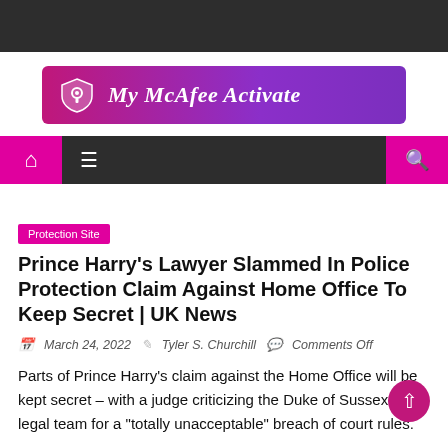[Figure (logo): My McAfee Activate logo banner with shield icon and gradient pink-purple background]
[Figure (other): Navigation bar with home icon, hamburger menu, and search icon]
Protection Site
Prince Harry's Lawyer Slammed In Police Protection Claim Against Home Office To Keep Secret | UK News
March 24, 2022   Tyler S. Churchill   Comments Off
Parts of Prince Harry's claim against the Home Office will be kept secret – with a judge criticizing the Duke of Sussex's legal team for a "totally unacceptable" breach of court rules.